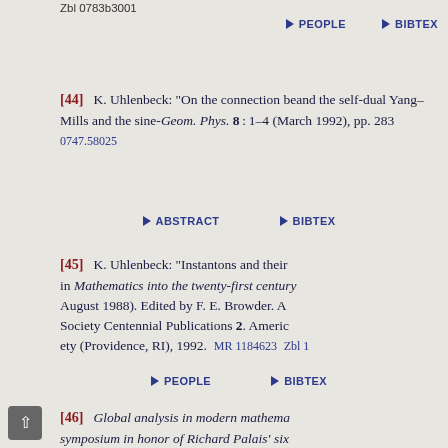Zbl 0783b3001
[44] K. Uhlenbeck: "On the connection between and the self-dual Yang-Mills and the sine- Geom. Phys. 8:1-4 (March 1992), pp. 283. 0747.58025
[45] K. Uhlenbeck: "Instantons and their in Mathematics into the twenty-first century August 1988). Edited by F. E. Browder. Ai Society Centennial Publications 2. Americ ety (Providence, RI), 1992. MR 1184623 Zbl 1
[46] Global analysis in modern mathema symposium in honor of Richard Palais' six